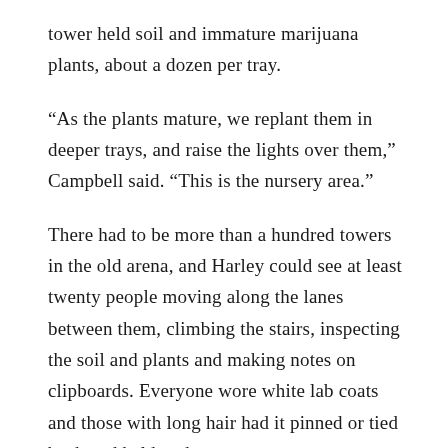tower held soil and immature marijuana plants, about a dozen per tray.
“As the plants mature, we replant them in deeper trays, and raise the lights over them,” Campbell said. “This is the nursery area.”
There had to be more than a hundred towers in the old arena, and Harley could see at least twenty people moving along the lanes between them, climbing the stairs, inspecting the soil and plants and making notes on clipboards. Everyone wore white lab coats and those with long hair had it pinned or tied back and held under nets.